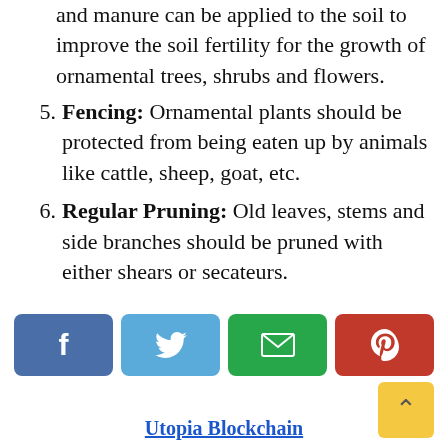and manure can be applied to the soil to improve the soil fertility for the growth of ornamental trees, shrubs and flowers.
Fencing: Ornamental plants should be protected from being eaten up by animals like cattle, sheep, goat, etc.
Regular Pruning: Old leaves, stems and side branches should be pruned with either shears or secateurs.
[Figure (infographic): Social sharing buttons: Facebook (blue), Twitter (light blue), Email (green), Pinterest (red). Yellow scroll-to-top button at bottom right.]
Utopia Blockchain